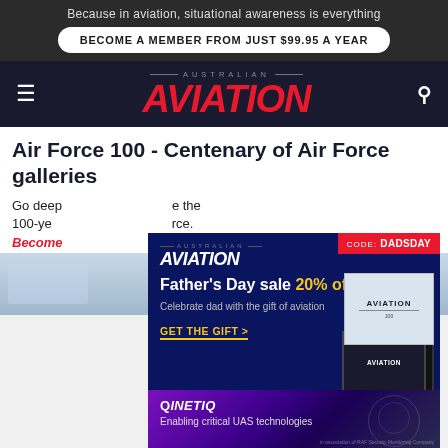Because in aviation, situational awareness is everything
BECOME A MEMBER FROM JUST $99.95 A YEAR
AVIATION
Air Force 100 - Centenary of Air Force galleries
Go deep ... e the 100-ye ... rce. Become ... s.
[Figure (infographic): Australian Aviation Father's Day sale advertisement with CODE: DADSDAY, 20% off promotion, magazines shown]
[Figure (infographic): QinetiQ advertisement: Enabling critical UAS technologies]